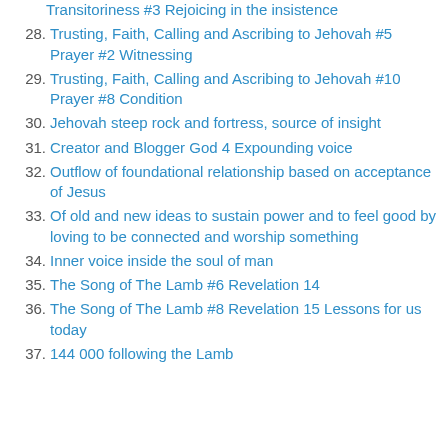Transitoriness #3 Rejoicing in the insistence
28. Trusting, Faith, Calling and Ascribing to Jehovah #5 Prayer #2 Witnessing
29. Trusting, Faith, Calling and Ascribing to Jehovah #10 Prayer #8 Condition
30. Jehovah steep rock and fortress, source of insight
31. Creator and Blogger God 4 Expounding voice
32. Outflow of foundational relationship based on acceptance of Jesus
33. Of old and new ideas to sustain power and to feel good by loving to be connected and worship something
34. Inner voice inside the soul of man
35. The Song of The Lamb #6 Revelation 14
36. The Song of The Lamb #8 Revelation 15 Lessons for us today
37. 144 000 following the Lamb